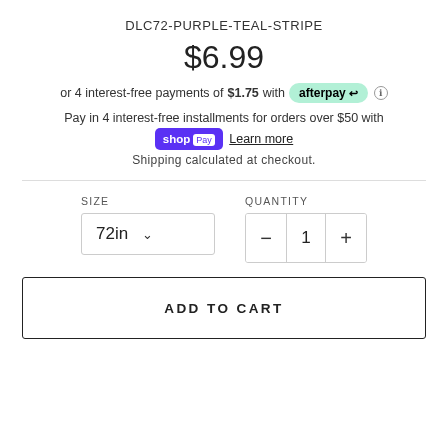DLC72-PURPLE-TEAL-STRIPE
$6.99
or 4 interest-free payments of $1.75 with afterpay ⓘ
Pay in 4 interest-free installments for orders over $50 with shop Pay Learn more
Shipping calculated at checkout.
SIZE: 72in  QUANTITY: 1
ADD TO CART